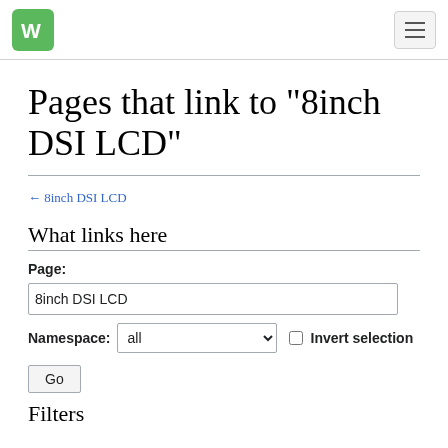WA logo and navigation header
Pages that link to "8inch DSI LCD"
← 8inch DSI LCD
What links here
Page: 8inch DSI LCD
Namespace: all  Invert selection
Go
Filters